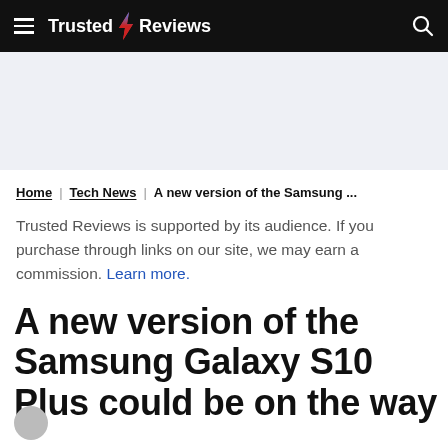Trusted Reviews
Home | Tech News | A new version of the Samsung ...
Trusted Reviews is supported by its audience. If you purchase through links on our site, we may earn a commission. Learn more.
A new version of the Samsung Galaxy S10 Plus could be on the way